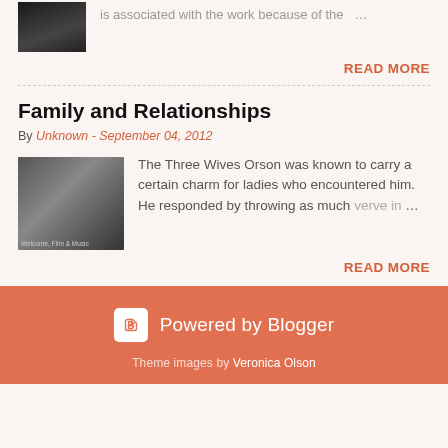[Figure (photo): Partial view of a black and white photo of a person, cropped at top]
is associated with the work because of the …
READ MORE
Family and Relationships
By Unknown - September 04, 2012
[Figure (photo): Black and white photo of a man with family, caption reads: Welcome, Film & Music]
The Three Wives Orson was known to carry a certain charm for ladies who encountered him. He responded by throwing as much verve in …
READ MORE
Powered by Blogger
Theme images by Veronica Olson